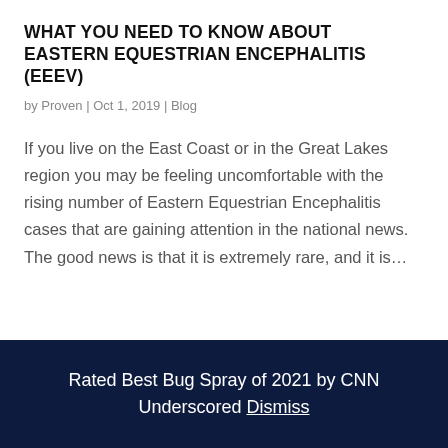WHAT YOU NEED TO KNOW ABOUT EASTERN EQUESTRIAN ENCEPHALITIS (EEEV)
by Proven | Oct 1, 2019 | Blog
If you live on the East Coast or in the Great Lakes region you may be feeling uncomfortable with the rising number of Eastern Equestrian Encephalitis cases that are gaining attention in the national news. The good news is that it is extremely rare, and it is…
[Figure (photo): American Airlines advertisement banner showing colorful event promotional content with text about moon rocks, luxury pigeons, spirited ice cream, body painting]
Rated Best Bug Spray of 2021 by CNN Underscored Dismiss